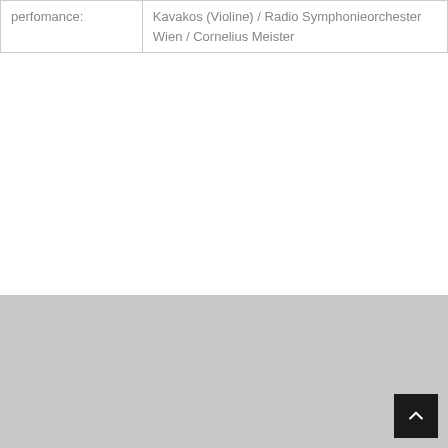| perfomance: | Kavakos (Violine) / Radio Symphonieorchester Wien / Cornelius Meister |